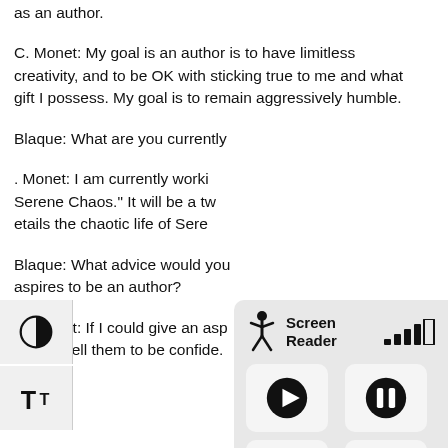as an author.
C. Monet: My goal is an author is to have limitless creativity, and to be OK with sticking true to me and what gift I possess. My goal is to remain aggressively humble.
Blaque: What are you currently
. Monet: I am currently worki
Serene Chaos." It will be a tw
etails the chaotic life of Sere
Blaque: What advice would you aspires to be an author?
C. Monet: If I could give an asp
I would tell them to be confide.
[Figure (screenshot): Screen Reader accessibility overlay panel with play, pause, stop, and text size controls. Also shows a left sidebar with contrast and text size buttons.]